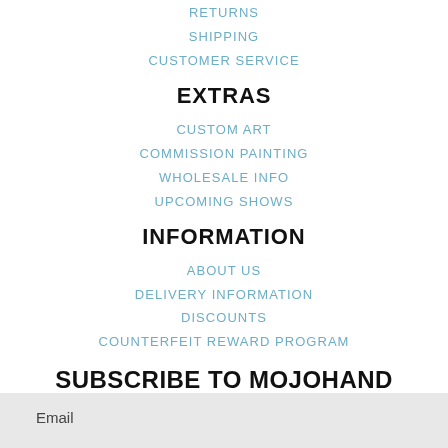RETURNS
SHIPPING
CUSTOMER SERVICE
EXTRAS
CUSTOM ART
COMMISSION PAINTING
WHOLESALE INFO
UPCOMING SHOWS
INFORMATION
ABOUT US
DELIVERY INFORMATION
DISCOUNTS
COUNTERFEIT REWARD PROGRAM
SUBSCRIBE TO MOJOHAND
Email